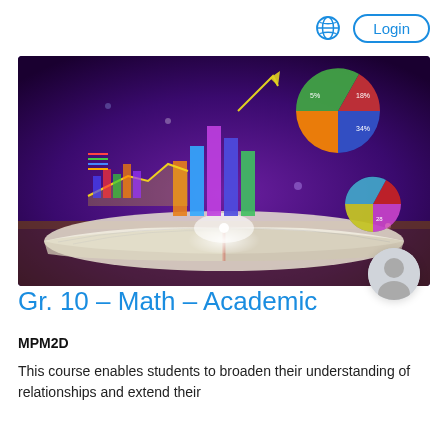Login
[Figure (photo): Open textbook with glowing mathematical charts, graphs (bar chart, line chart, pie charts), and formulas emerging from its pages against a dark purple background, on a wooden surface.]
Gr. 10 – Math – Academic
MPM2D
This course enables students to broaden their understanding of relationships and extend their